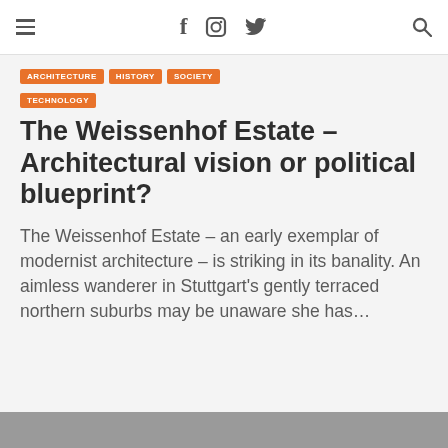≡  f  [instagram]  [twitter]  [search]
ARCHITECTURE
HISTORY
SOCIETY
TECHNOLOGY
The Weissenhof Estate – Architectural vision or political blueprint?
The Weissenhof Estate – an early exemplar of modernist architecture – is striking in its banality. An aimless wanderer in Stuttgart's gently terraced northern suburbs may be unaware she has…
[Figure (photo): Bottom edge of a photograph, partially visible at the bottom of the page]